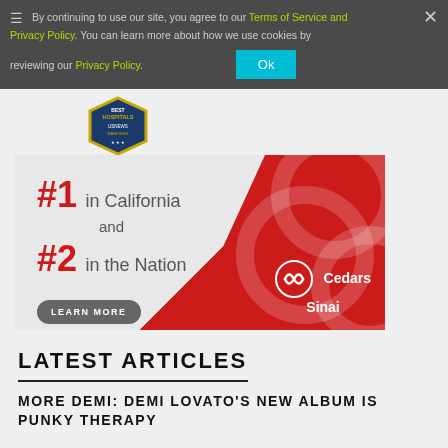By continuing to use our site, you agree to our Terms of Service and Privacy Policy. You can learn more about how we use cookies by reviewing our Privacy Policy. Ok
[Figure (infographic): Cedars Sinai hospital advertisement banner: #1 in California and #2 in the Nation with LEARN MORE button and Cedars Sinai logo on red background. US News Best Hospitals badge overlay.]
LATEST ARTICLES
MORE DEMI: DEMI LOVATO'S NEW ALBUM IS PUNKY THERAPY